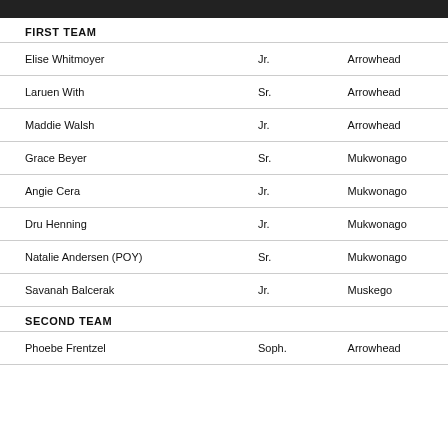FIRST TEAM
| Name | Year | School |
| --- | --- | --- |
| Elise Whitmoyer | Jr. | Arrowhead |
| Laruen With | Sr. | Arrowhead |
| Maddie Walsh | Jr. | Arrowhead |
| Grace Beyer | Sr. | Mukwonago |
| Angie Cera | Jr. | Mukwonago |
| Dru Henning | Jr. | Mukwonago |
| Natalie Andersen (POY) | Sr. | Mukwonago |
| Savanah Balcerak | Jr. | Muskego |
SECOND TEAM
| Name | Year | School |
| --- | --- | --- |
| Phoebe Frentzel | Soph. | Arrowhead |